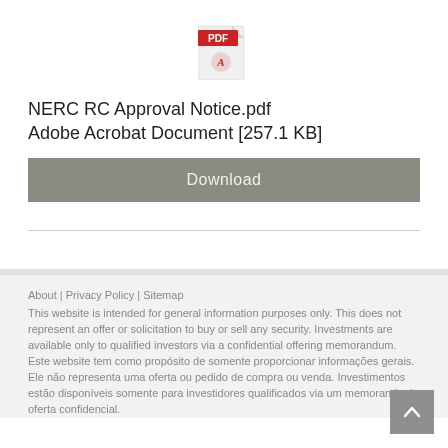[Figure (other): PDF file icon with red Adobe Acrobat logo]
NERC RC Approval Notice.pdf
Adobe Acrobat Document [257.1 KB]
Download
About | Privacy Policy | Sitemap
This website is intended for general information purposes only. This does not represent an offer or solicitation to buy or sell any security. Investments are available only to qualified investors via a confidential offering memorandum. Este website tem como propósito de somente proporcionar informações gerais. Ele não representa uma oferta ou pedido de compra ou venda. Investimentos estão disponíveis somente para investidores qualificados via um memorando de oferta confidencial.